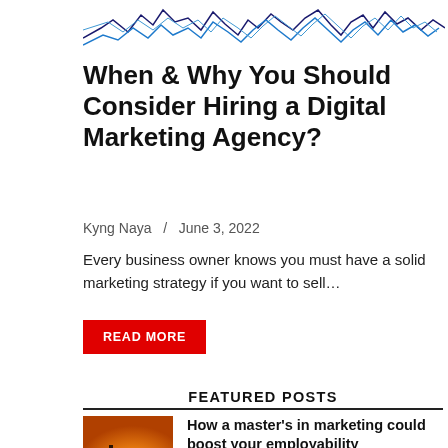[Figure (continuous-plot): Partial view of a line chart with blue/dark lines on white background, showing fluctuating data patterns — appears to be a stock or marketing metrics chart cropped at top.]
When & Why You Should Consider Hiring a Digital Marketing Agency?
Kyng Naya  /  June 3, 2022
Every business owner knows you must have a solid marketing strategy if you want to sell…
READ MORE
FEATURED POSTS
[Figure (photo): A silhouette of a graduate in cap and gown holding a diploma against a warm golden sunset background.]
How a master's in marketing could boost your employability
August 20, 2022